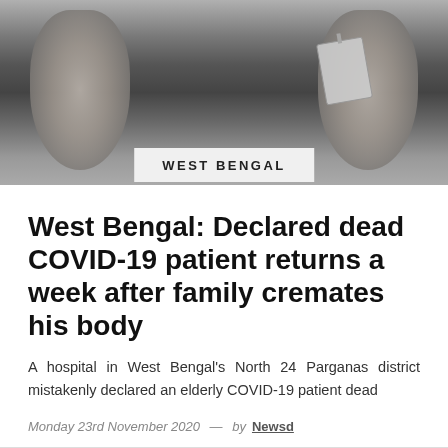[Figure (photo): Black and white photograph of feet with a morgue tag attached to the right foot toe, suggesting a deceased person]
WEST BENGAL
West Bengal: Declared dead COVID-19 patient returns a week after family cremates his body
A hospital in West Bengal's North 24 Parganas district mistakenly declared an elderly COVID-19 patient dead
Monday 23rd November 2020  —  by Newsd